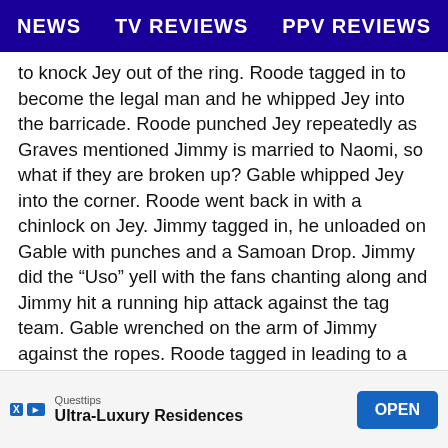NEWS   TV REVIEWS   PPV REVIEWS
to knock Jey out of the ring. Roode tagged in to become the legal man and he whipped Jey into the barricade. Roode punched Jey repeatedly as Graves mentioned Jimmy is married to Naomi, so what if they are broken up? Gable whipped Jey into the corner. Roode went back in with a chinlock on Jey. Jimmy tagged in, he unloaded on Gable with punches and a Samoan Drop. Jimmy did the “Uso” yell with the fans chanting along and Jimmy hit a running hip attack against the tag team. Gable wrenched on the arm of Jimmy against the ropes. Roode tagged in leading to a forearm into a German Suplex from Gable for two. Gable went up top, Jimmy slammed Roode, Gable got a rollup on Jimmy, Jey tagged in with a superkick on Gable and a kick on Roode with a superkick and Gable